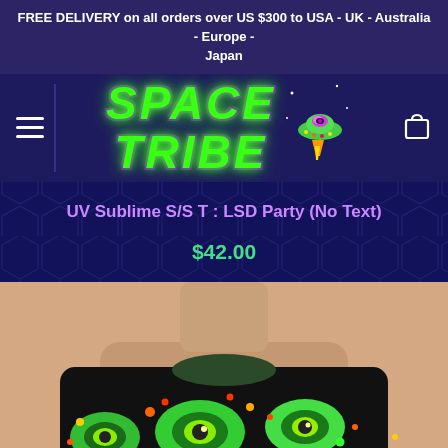FREE DELIVERY on all orders over US $300 to USA - UK - Australia - Europe - Japan
[Figure (logo): Space Tribe logo with green neon text and UFO spaceship graphic on dark purple navigation bar with hamburger menu and cart icon]
UV Sublime S/S T : LSD Party (No Text)
$42.00
[Figure (photo): Male model wearing a colorful psychedelic t-shirt featuring neon green eyes, dots patterns in green, orange, red on black background. Photo cropped at neck level showing shirt from chest up.]